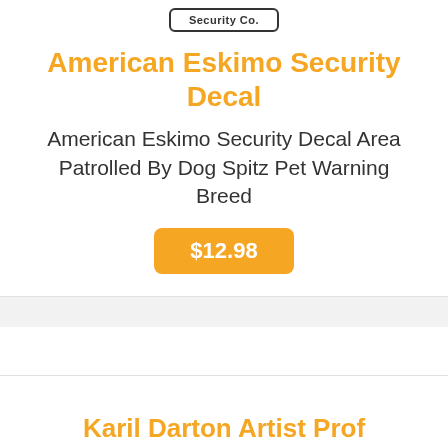[Figure (logo): Security Co. logo in a rounded rectangle border]
American Eskimo Security Decal
American Eskimo Security Decal Area Patrolled By Dog Spitz Pet Warning Breed
$12.98
Karil Darton Artist Proof